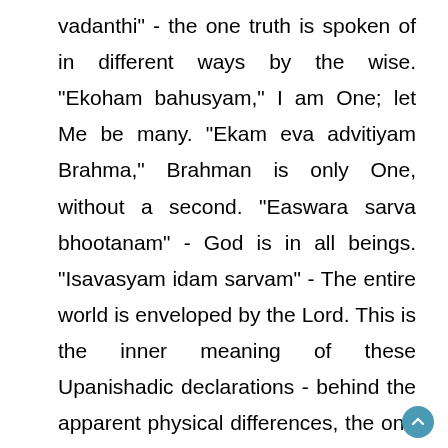vadanthi" - the one truth is spoken of in different ways by the wise. "Ekoham bahusyam," I am One; let Me be many. "Ekam eva advitiyam Brahma," Brahman is only One, without a second. "Easwara sarva bhootanam" - God is in all beings. "Isavasyam idam sarvam" - The entire world is enveloped by the Lord. This is the inner meaning of these Upanishadic declarations - behind the apparent physical differences, the one basic Truth, the Atma, resides in all beings. We should, therefore, live our lives with a constant awareness of this profound verity. Do not feel elated by injuring and hurting others, for that harm is not being caused to another but to your own